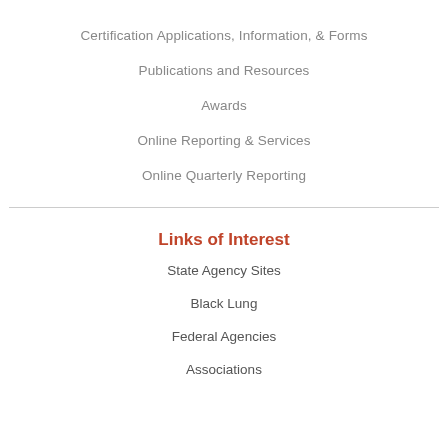Certification Applications, Information, & Forms
Publications and Resources
Awards
Online Reporting & Services
Online Quarterly Reporting
Links of Interest
State Agency Sites
Black Lung
Federal Agencies
Associations